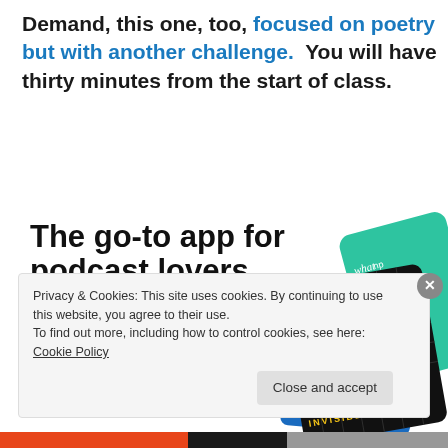Demand, this one, too, focused on poetry but with another challenge.  You will have thirty minutes from the start of class.
[Figure (illustration): Advertisement for a podcast app. Text reads 'The go-to app for podcast lovers.' with 'Download now' in red below. On the right are illustrated podcast app cards including '99% Invisible'.]
Privacy & Cookies: This site uses cookies. By continuing to use this website, you agree to their use.
To find out more, including how to control cookies, see here: Cookie Policy
Close and accept